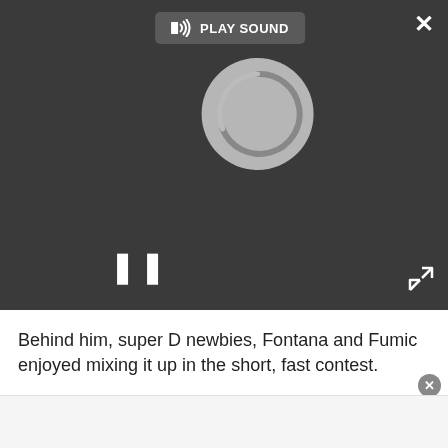[Figure (screenshot): Media player overlay showing a circular spinner/loading icon in center, a pause button (two vertical bars) at lower left, a 'PLAY SOUND' button with speaker icon at top center, a close X button at top right, and an expand/fullscreen icon at bottom right. Dark gray background.]
Behind him, super D newbies, Fontana and Fumic enjoyed mixing it up in the short, fast contest.
"I'd ridden the course and it was wide and fast and straight, but then in the race, it was another experience," said Fontana, who ended up second as the first man across the line in the pack just behind Decker.
"We don't have those in Germany or in Europe," said the third-placed Fumic, "I first heard of the Super D